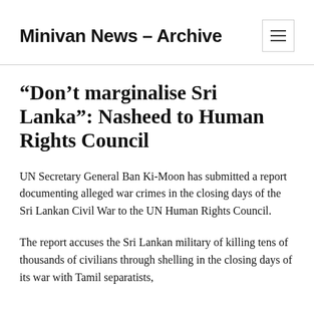Minivan News – Archive
“Don’t marginalise Sri Lanka”: Nasheed to Human Rights Council
UN Secretary General Ban Ki-Moon has submitted a report documenting alleged war crimes in the closing days of the Sri Lankan Civil War to the UN Human Rights Council.
The report accuses the Sri Lankan military of killing tens of thousands of civilians through shelling in the closing days of its war with Tamil separatists,